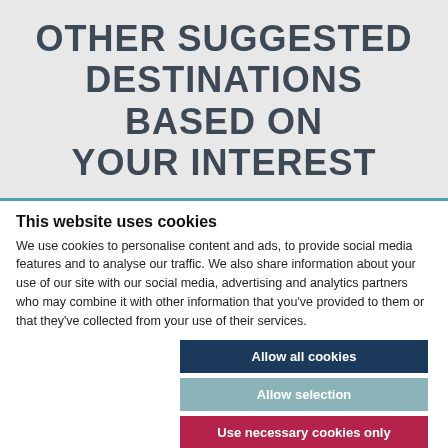OTHER SUGGESTED DESTINATIONS BASED ON YOUR INTEREST
This website uses cookies
We use cookies to personalise content and ads, to provide social media features and to analyse our traffic. We also share information about your use of our site with our social media, advertising and analytics partners who may combine it with other information that you've provided to them or that they've collected from your use of their services.
Allow all cookies
Allow selection
Use necessary cookies only
Necessary  Preferences  Statistics  Marketing  Show details